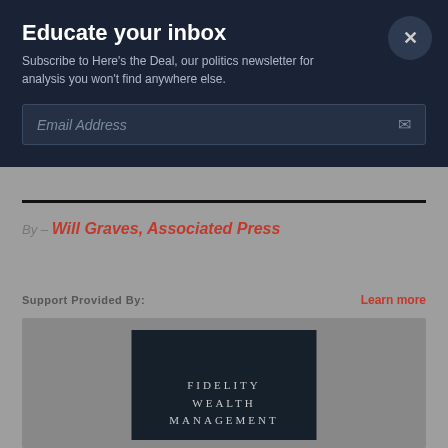Educate your inbox
Subscribe to Here's the Deal, our politics newsletter for analysis you won't find anywhere else.
Email Address
By – Will Graves, Associated Press
Support Provided By:
Learn more
[Figure (logo): Fidelity Wealth Management dark background advertisement logo]